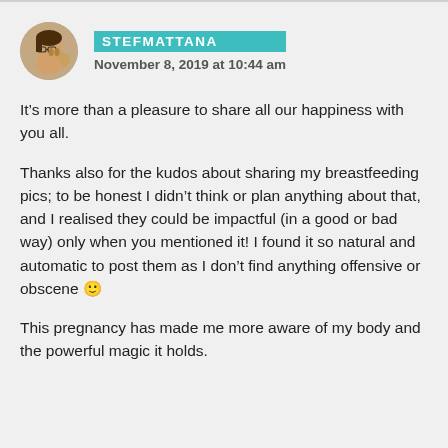STEFMATTANA
November 8, 2019 at 10:44 am
It’s more than a pleasure to share all our happiness with you all.
Thanks also for the kudos about sharing my breastfeeding pics; to be honest I didn’t think or plan anything about that, and I realised they could be impactful (in a good or bad way) only when you mentioned it! I found it so natural and automatic to post them as I don’t find anything offensive or obscene 🙂
This pregnancy has made me more aware of my body and the powerful magic it holds.